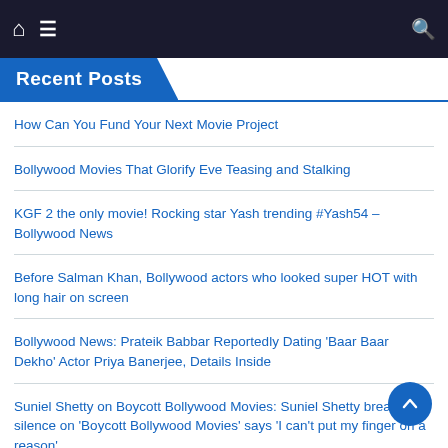Navigation bar with home, menu, and search icons
Recent Posts
How Can You Fund Your Next Movie Project
Bollywood Movies That Glorify Eve Teasing and Stalking
KGF 2 the only movie! Rocking star Yash trending #Yash54 – Bollywood News
Before Salman Khan, Bollywood actors who looked super HOT with long hair on screen
Bollywood News: Prateik Babbar Reportedly Dating 'Baar Baar Dekho' Actor Priya Banerjee, Details Inside
Suniel Shetty on Boycott Bollywood Movies: Suniel Shetty breaks silence on 'Boycott Bollywood Movies' says 'I can't put my finger on a reason'